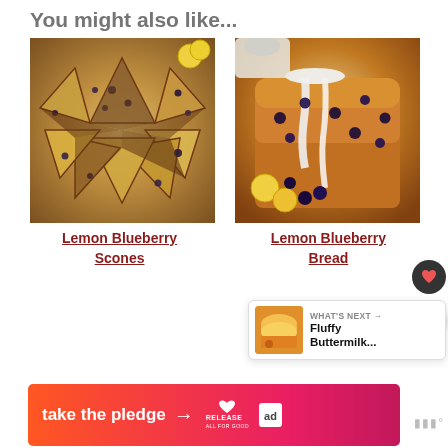You might also like...
[Figure (photo): Overhead photo of lemon blueberry scones arranged in a circular pattern on parchment paper]
Lemon Blueberry Scones
[Figure (photo): Close-up photo of lemon blueberry bread loaf with white glaze drizzling down the side, with fresh blueberries and lemon slices]
Lemon Blueberry Bread
[Figure (photo): What's Next panel showing fluffy buttermilk pancakes thumbnail with text 'WHAT'S NEXT → Fluffy Buttermilk...']
[Figure (infographic): Advertisement banner: take the pledge → RELEASE logo with heart icon and ad badge]